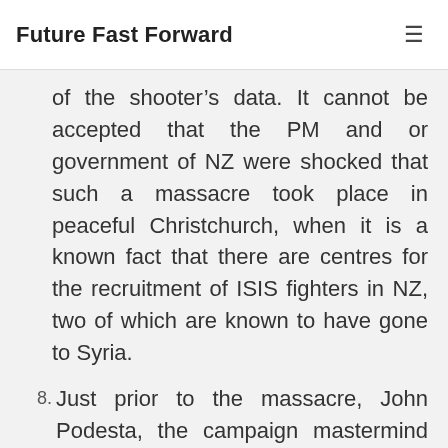Future Fast Forward
of the shooter's data. It cannot be accepted that the PM and or government of NZ were shocked that such a massacre took place in peaceful Christchurch, when it is a known fact that there are centres for the recruitment of ISIS fighters in NZ, two of which are known to have gone to Syria.
8. Just prior to the massacre, John Podesta, the campaign mastermind for Hillary in the